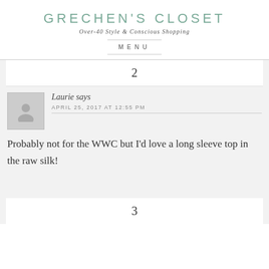GRECHEN'S CLOSET
Over-40 Style & Conscious Shopping
MENU
2
Laurie says
APRIL 25, 2017 AT 12:55 PM
Probably not for the WWC but I’d love a long sleeve top in the raw silk!
3